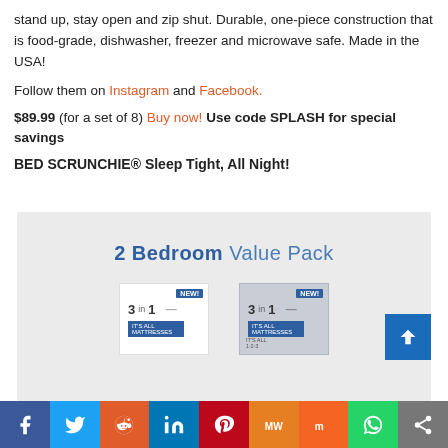stand up, stay open and zip shut. Durable, one-piece construction that is food-grade, dishwasher, freezer and microwave safe. Made in the USA!
Follow them on Instagram and Facebook.
$89.99 (for a set of 8) Buy now! Use code SPLASH for special savings
BED SCRUNCHIE® Sleep Tight, All Night!
[Figure (photo): 2 Bedroom Value Pack product image showing two 3-in-1 bed scrunchie packages side by side with NEW! labels]
[Figure (infographic): Social media sharing bar with icons for Facebook, Twitter, Reddit, LinkedIn, Pinterest, MeWe, Mix, WhatsApp, and share]